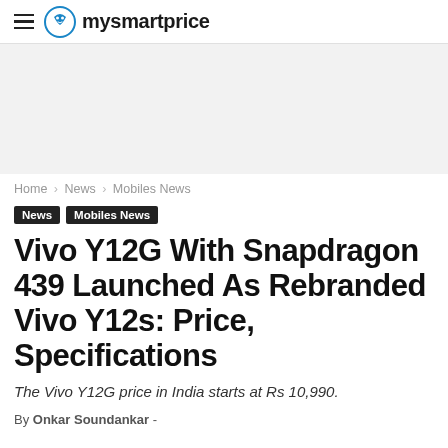mysmartprice
[Figure (other): Advertisement banner placeholder, light grey background]
Home › News › Mobiles News
News  Mobiles News
Vivo Y12G With Snapdragon 439 Launched As Rebranded Vivo Y12s: Price, Specifications
The Vivo Y12G price in India starts at Rs 10,990.
By Onkar Soundankar -